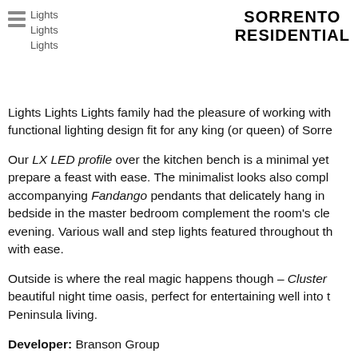[Figure (logo): Lights Lights Lights logo with three horizontal lines and stacked text]
SORRENTO
RESIDENTIAL
Lights Lights Lights family had the pleasure of working with functional lighting design fit for any king (or queen) of Sorre
Our LX LED profile over the kitchen bench is a minimal yet prepare a feast with ease. The minimalist looks also compl accompanying Fandango pendants that delicately hang in bedside in the master bedroom complement the room's cle evening. Various wall and step lights featured throughout th with ease.
Outside is where the real magic happens though – Cluster beautiful night time oasis, perfect for entertaining well into t Peninsula living.
Developer: Branson Group
Styling: KMode Interiors
Architecture: Steve Domoney Architecture